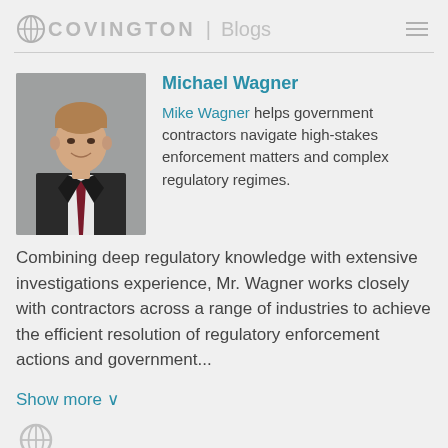COVINGTON | Blogs
[Figure (photo): Headshot of Michael Wagner, a young man in a dark suit and red tie, smiling, grey background]
Michael Wagner
Mike Wagner helps government contractors navigate high-stakes enforcement matters and complex regulatory regimes.
Combining deep regulatory knowledge with extensive investigations experience, Mr. Wagner works closely with contractors across a range of industries to achieve the efficient resolution of regulatory enforcement actions and government...
Show more ∨